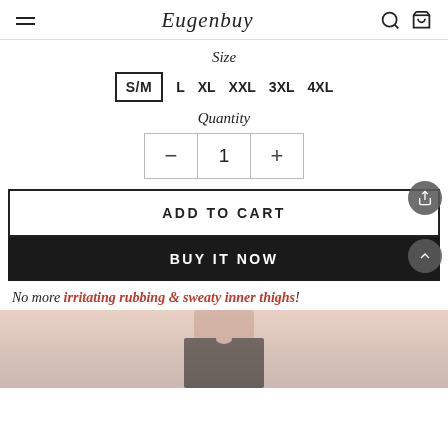Eugenbuy
Size
S/M  L  XL  XXL  3XL  4XL
Quantity
- 1 +
ADD TO CART
BUY IT NOW
No more irritating rubbing & sweaty inner thighs!
[Figure (photo): Partial photo of a person wearing black shorts/skirt, showing midsection]